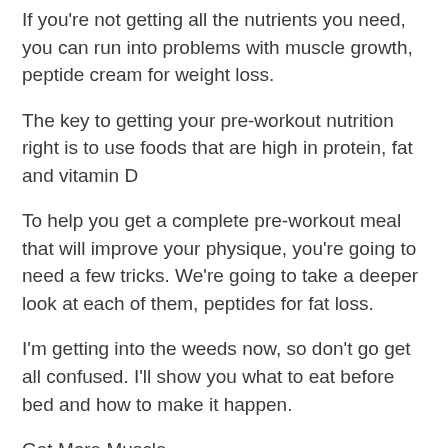If you're not getting all the nutrients you need, you can run into problems with muscle growth, peptide cream for weight loss.
The key to getting your pre-workout nutrition right is to use foods that are high in protein, fat and vitamin D
To help you get a complete pre-workout meal that will improve your physique, you're going to need a few tricks. We're going to take a deeper look at each of them, peptides for fat loss.
I'm getting into the weeds now, so don't go get all confused. I'll show you what to eat before bed and how to make it happen.
Get More Muscle
So you have a pre-workout meal plan, do you know how to get more muscle, fat loss